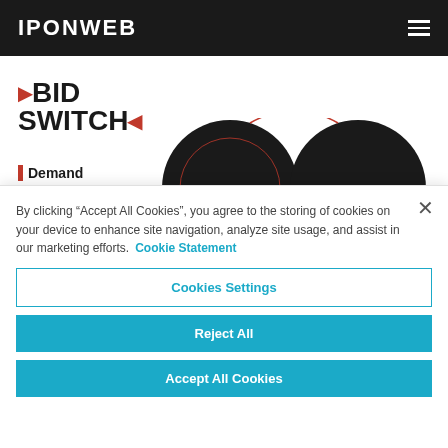IPONWEB
[Figure (logo): BidSwitch logo with red accent dots]
Demand
[Figure (illustration): Overlapping dark circular shapes with red arc outline in background]
By clicking “Accept All Cookies”, you agree to the storing of cookies on your device to enhance site navigation, analyze site usage, and assist in our marketing efforts. Cookie Statement
Cookies Settings
Reject All
Accept All Cookies